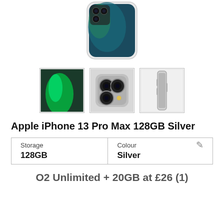[Figure (photo): Apple iPhone 13 Pro Max in silver color, main product image showing back of device]
[Figure (photo): Three thumbnail images of iPhone 13 Pro Max: front screen with green reflections, rear triple camera system, and side profile in silver]
Apple iPhone 13 Pro Max 128GB Silver
| Storage | Colour |
| --- | --- |
| 128GB | Silver |
O2 Unlimited + 20GB at £26 (1)